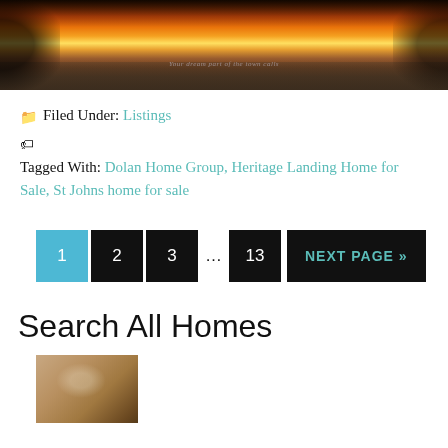[Figure (photo): Sunset over water with trees silhouetted on sides, orange and golden sky reflected on water]
Filed Under: Listings
Tagged With: Dolan Home Group, Heritage Landing Home for Sale, St Johns home for sale
1 2 3 ... 13 NEXT PAGE »
Search All Homes
[Figure (photo): Partial thumbnail photo showing a hand or hair, cropped at bottom of page]